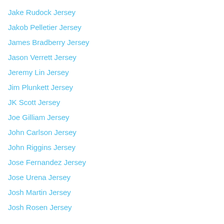Jake Rudock Jersey
Jakob Pelletier Jersey
James Bradberry Jersey
Jason Verrett Jersey
Jeremy Lin Jersey
Jim Plunkett Jersey
JK Scott Jersey
Joe Gilliam Jersey
John Carlson Jersey
John Riggins Jersey
Jose Fernandez Jersey
Jose Urena Jersey
Josh Martin Jersey
Josh Rosen Jersey